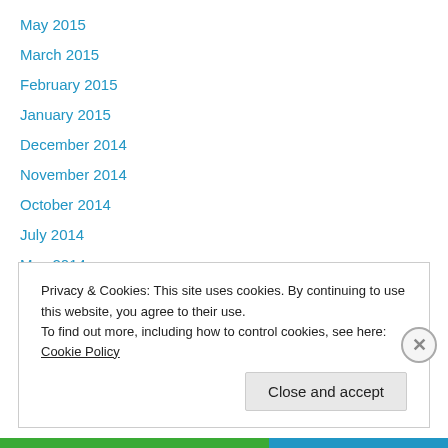May 2015
March 2015
February 2015
January 2015
December 2014
November 2014
October 2014
July 2014
May 2014
April 2014
March 2014
February 2014
January 2014
Privacy & Cookies: This site uses cookies. By continuing to use this website, you agree to their use. To find out more, including how to control cookies, see here: Cookie Policy
Close and accept